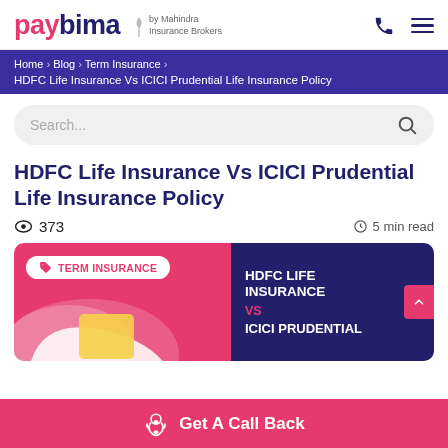paybima by Mahindra Insurance Brokers
Home > Blog > Term Insurance > HDFC Life Insurance Vs ICICI Prudential Life Insurance Policy
Search...
HDFC Life Insurance Vs ICICI Prudential Life Insurance Policy
373  5 min read
[Figure (infographic): Banner image showing TERM INSURANCE tag on left pink background with decorative blobs, and dark blue right panel with text HDFC LIFE INSURANCE VS ICICI PRUDENTIAL. A scroll-up button appears on the far right. A pink Get A Call Back CTA bar at the bottom with headset icon.]